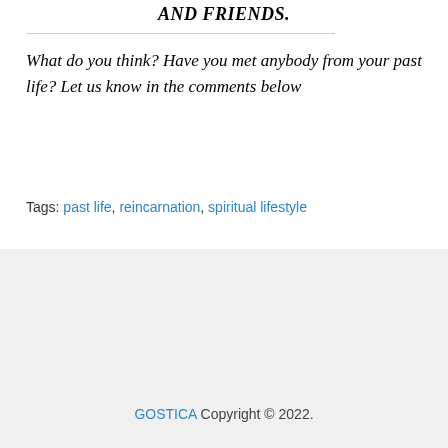AND FRIENDS.
What do you think? Have you met anybody from your past life? Let us know in the comments below
Tags: past life, reincarnation, spiritual lifestyle
GOSTICA Copyright © 2022.